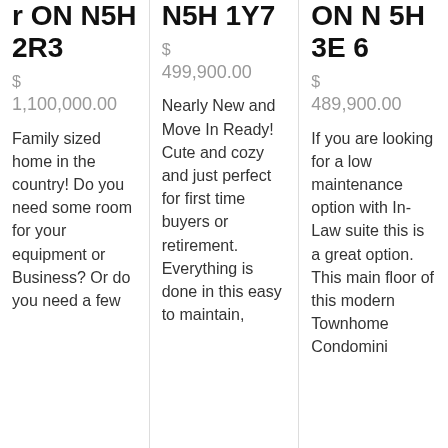r ON N5H 2R3
$ 1,100,000.00
Family sized home in the country! Do you need some room for your equipment or Business? Or do you need a few
N5H 1Y7
$ 499,900.00
Nearly New and Move In Ready! Cute and cozy and just perfect for first time buyers or retirement. Everything is done in this easy to maintain,
ON N 5H 3E 6
$ 489,900.00
If you are looking for a low maintenance option with In-Law suite this is a great option. This main floor of this modern Townhome Condomini